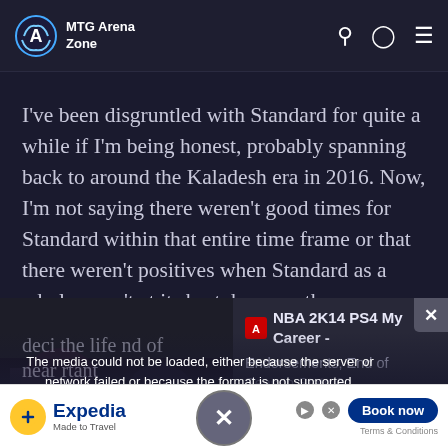MTG Arena Zone
I've been disgruntled with Standard for quite a while if I'm being honest, probably spanning back to around the Kaladesh era in 2016. Now, I'm not saying there weren't good times for Standard within that entire time frame or that there weren't positives when Standard as a whole wasn't at its best, because there
[Figure (screenshot): Video player showing media error: 'The media could not be loaded, either because the server or network failed or because the format is not supported.' Alongside NBA 2K14 PS4 My Career - Endorsements, End of Season Stats &... video thumbnail. Close button visible.]
deci... the life... nd of near... rtant
[Figure (screenshot): Expedia advertisement banner with 'Book now' button and 'Terms & Conditions' text]